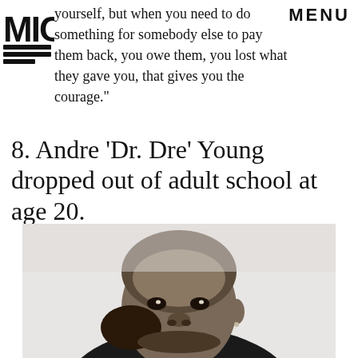MIC | MENU
yourself, but when you need to do something for somebody else to pay them back, you owe them, you lost what they gave you, that gives you the courage."
8. Andre 'Dr. Dre' Young dropped out of adult school at age 20.
[Figure (photo): Black and white portrait photograph of Dr. Dre, a Black man wearing dark clothing, looking directly at the camera with a serious expression, with his hand near his face.]